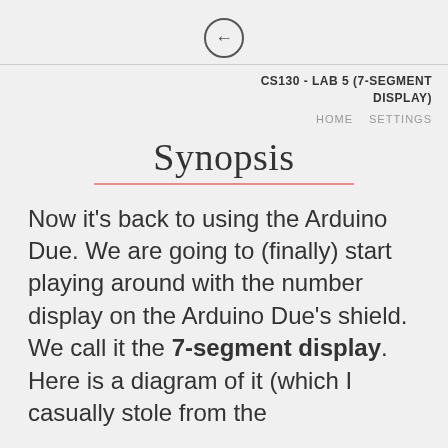CS130 - LAB 5 (7-SEGMENT DISPLAY)
Synopsis
Now it's back to using the Arduino Due. We are going to (finally) start playing around with the number display on the Arduino Due's shield. We call it the 7-segment display. Here is a diagram of it (which I casually stole from the